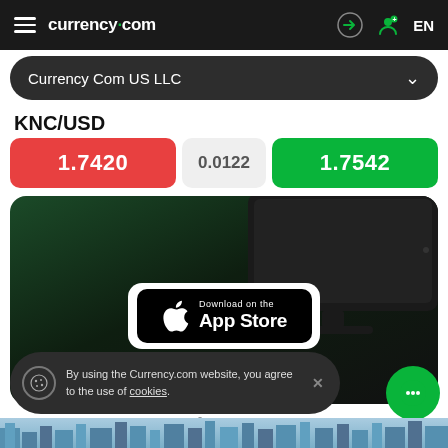currency.com  EN
Currency Com US LLC
KNC/USD
| Sell | Spread | Buy |
| --- | --- | --- |
| 1.7420 | 0.0122 | 1.7542 |
[Figure (screenshot): Dark background promotional image with iMac silhouette and App Store download badge]
Market news
By using the Currency.com website, you agree to the use of cookies.